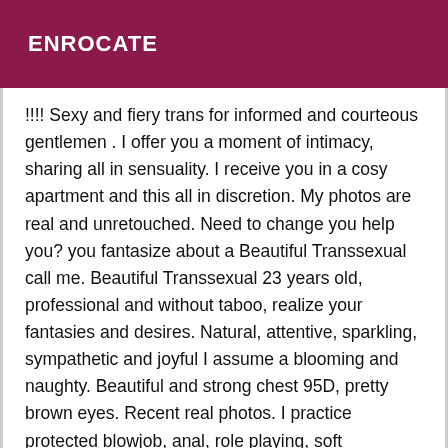ENROCATE
!!!! Sexy and fiery trans for informed and courteous gentlemen . I offer you a moment of intimacy, sharing all in sensuality. I receive you in a cosy apartment and this all in discretion. My photos are real and unretouched. Need to change you help you? you fantasize about a Beautiful Transsexual call me. Beautiful Transsexual 23 years old, professional and without taboo, realize your fantasies and desires. Natural, attentive, sparkling, sympathetic and joyful I assume a blooming and naughty. Beautiful and strong chest 95D, pretty brown eyes. Recent real photos. I practice protected blowjob, anal, role playing, soft domination, I can wear a sexy outfit according to your desires. Receives in College Park 7th Mutual respect, courtesy, discretion and perfect hygiene are the key words for a successful meeting. For any further information or if you wish to meet me, please contact me by phone only. Menu of heart-show stripper